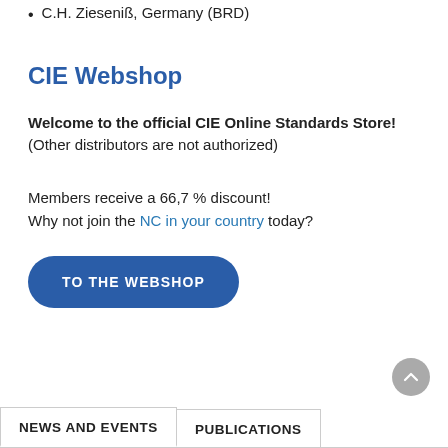C.H. Zieseniß, Germany (BRD)
CIE Webshop
Welcome to the official CIE Online Standards Store!
(Other distributors are not authorized)
Members receive a 66,7 % discount!
Why not join the NC in your country today?
[Figure (other): Button labeled 'TO THE WEBSHOP' with dark blue rounded rectangle background]
[Figure (other): Scroll-to-top circular button with upward chevron arrow]
NEWS AND EVENTS   PUBLICATIONS (tab navigation)